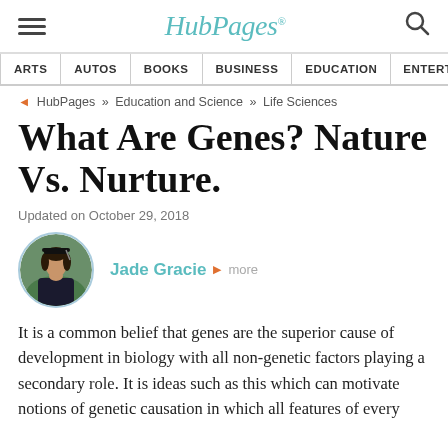HubPages
ARTS | AUTOS | BOOKS | BUSINESS | EDUCATION | ENTERTA
◄ HubPages » Education and Science » Life Sciences
What Are Genes? Nature Vs. Nurture.
Updated on October 29, 2018
Jade Gracie ▶ more
It is a common belief that genes are the superior cause of development in biology with all non-genetic factors playing a secondary role. It is ideas such as this which can motivate notions of genetic causation in which all features of every